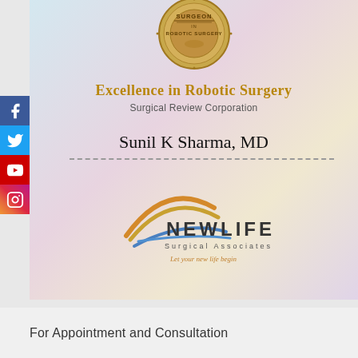[Figure (illustration): Gold medal/seal for Excellence in Robotic Surgery showing text SURGEON IN ROBOTIC SURGERY with decorative border]
Excellence in Robotic Surgery
Surgical Review Corporation
Sunil K Sharma, MD
[Figure (logo): NewLife Surgical Associates logo with rainbow arc graphic and tagline 'Let your new life begin']
For Appointment and Consultation